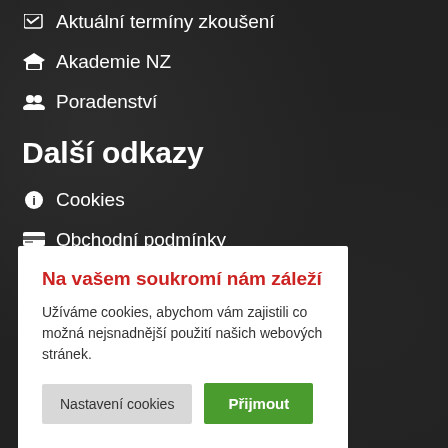Aktuální termíny zkoušení
Akademie NZ
Poradenství
Další odkazy
Cookies
Obchodní podmínky
Kariéra
Na vašem soukromí nám záleží
Užíváme cookies, abychom vám zajistili co možná nejsnadnější použití našich webových stránek.
Nastavení cookies
Přijmout